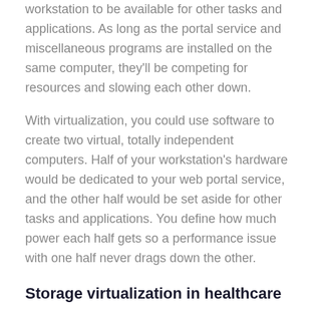workstation to be available for other tasks and applications. As long as the portal service and miscellaneous programs are installed on the same computer, they'll be competing for resources and slowing each other down.
With virtualization, you could use software to create two virtual, totally independent computers. Half of your workstation's hardware would be dedicated to your web portal service, and the other half would be set aside for other tasks and applications. You define how much power each half gets so a performance issue with one half never drags down the other.
Storage virtualization in healthcare
One of the biggest pain points for healthcare providers is how to keep up with storage demands for EHRs. IT solutions need to be both secure and flexible enough to meet the evolving needs of patients and industry